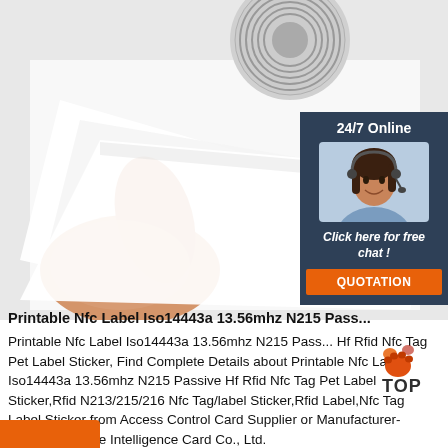[Figure (photo): Product photo showing a hand peeling a white NFC label sticker, with a circular NFC tag visible in the upper left on a white background.]
[Figure (infographic): Sidebar widget with dark blue background showing '24/7 Online', a customer service agent photo, 'Click here for free chat!' text, and an orange QUOTATION button.]
Printable Nfc Label Iso14443a 13.56mhz N215 Pass...
Printable Nfc Label Iso14443a 13.56mhz N215 Passive Hf Rfid Nfc Tag Pet Label Sticker, Find Complete Details about Printable Nfc Label Iso14443a 13.56mhz N215 Passive Hf Rfid Nfc Tag Pet Label Sticker,Rfid N213/215/216 Nfc Tag/label Sticker,Rfid Label,Nfc Tag Label Sticker from Access Control Card Supplier or Manufacturer-Shenzhen Xinye Intelligence Card Co., Ltd.
[Figure (logo): TOP logo with paw print icon in orange and dark colors.]